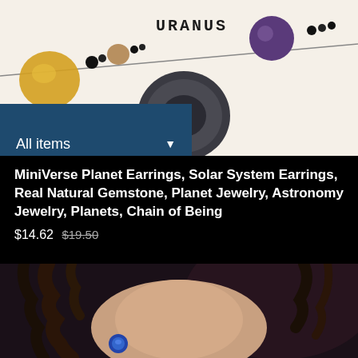[Figure (photo): Close-up photo of a bead necklace with planetary gemstone beads. Labels visible include 'URANUS' and 'JUPITER'. Beads include amber/yellow, black, brown, dark circular Saturn-ring bead, and purple/amethyst beads on a white background.]
All items ▼
MiniVerse Planet Earrings, Solar System Earrings, Real Natural Gemstone, Planet Jewelry, Astronomy Jewelry, Planets, Chain of Being
$14.62 $19.50
[Figure (photo): Photo of a woman with curly dark hair wearing a blue gemstone earring, shown from the neck up against a blurred dark background.]